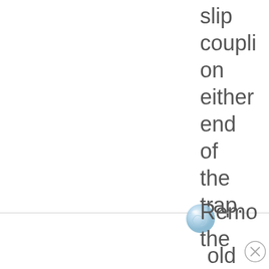slip coupling on either end of the trap.
[Figure (illustration): Glossy blue-white spherical bullet point icon]
Remove the old